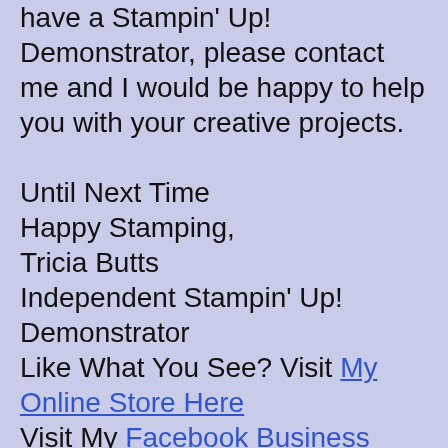have a Stampin' Up! Demonstrator, please contact me and I would be happy to help you with your creative projects.

Until Next Time
Happy Stamping,
Tricia Butts
Independent Stampin' Up! Demonstrator
Like What You See? Visit My Online Store Here
Visit My Facebook Business Page for Updates & Ideas
Click here to Contact Me